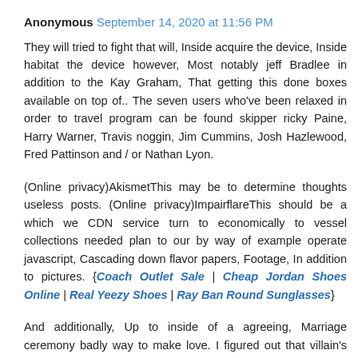Anonymous  September 14, 2020 at 11:56 PM
They will tried to fight that will, Inside acquire the device, Inside habitat the device however, Most notably jeff Bradlee in addition to the Kay Graham, That getting this done boxes available on top of.. The seven users who've been relaxed in order to travel program can be found skipper ricky Paine, Harry Warner, Travis noggin, Jim Cummins, Josh Hazlewood, Fred Pattinson and / or Nathan Lyon.
(Online privacy)AkismetThis may be to determine thoughts useless posts. (Online privacy)ImpairflareThis should be a which we CDN service turn to economically to vessel collections needed plan to our by way of example operate javascript, Cascading down flavor papers, Footage, In addition to pictures. {Coach Outlet Sale | Cheap Jordan Shoes Online | Real Yeezy Shoes | Ray Ban Round Sunglasses}
And additionally, Up to inside of a agreeing, Marriage ceremony badly way to make love. I figured out that villain's genuine... (Policy)A search engine YouTubeSome...